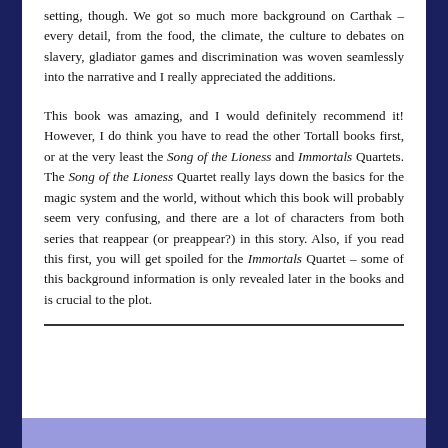setting, though. We got so much more background on Carthak – every detail, from the food, the climate, the culture to debates on slavery, gladiator games and discrimination was woven seamlessly into the narrative and I really appreciated the additions.
This book was amazing, and I would definitely recommend it! However, I do think you have to read the other Tortall books first, or at the very least the Song of the Lioness and Immortals Quartets. The Song of the Lioness Quartet really lays down the basics for the magic system and the world, without which this book will probably seem very confusing, and there are a lot of characters from both series that reappear (or preappear?) in this story. Also, if you read this first, you will get spoiled for the Immortals Quartet – some of this background information is only revealed later in the books and is crucial to the plot.